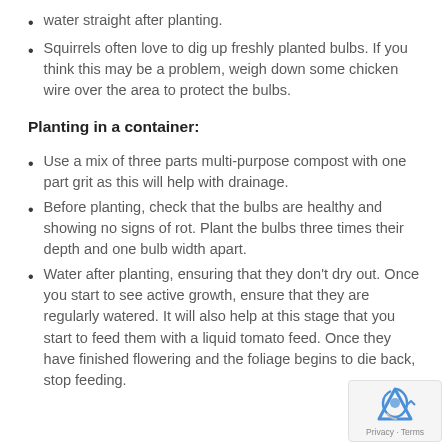water straight after planting.
Squirrels often love to dig up freshly planted bulbs. If you think this may be a problem, weigh down some chicken wire over the area to protect the bulbs.
Planting in a container:
Use a mix of three parts multi-purpose compost with one part grit as this will help with drainage.
Before planting, check that the bulbs are healthy and showing no signs of rot. Plant the bulbs three times their depth and one bulb width apart.
Water after planting, ensuring that they don’t dry out. Once you start to see active growth, ensure that they are regularly watered. It will also help at this stage that you start to feed them with a liquid tomato feed. Once they have finished flowering and the foliage begins to die back, stop feeding.